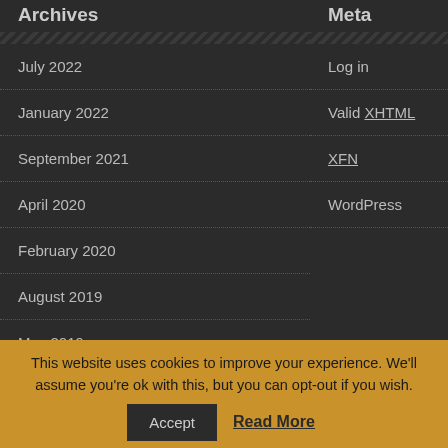Archives
Meta
July 2022
Log in
January 2022
Valid XHTML
September 2021
XFN
April 2020
WordPress
February 2020
August 2019
May 2019
April 2019
March 2019
January 2019
This website uses cookies to improve your experience. We'll assume you're ok with this, but you can opt-out if you wish.